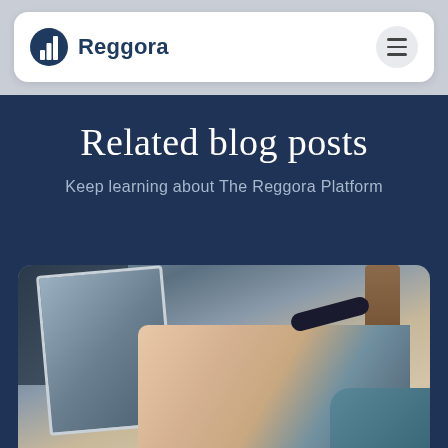Reggora
Related blog posts
Keep learning about The Reggora Platform
[Figure (photo): Person pointing at a laptop screen with their finger, wearing a smartwatch/fitness tracker on their wrist, with a blurred background showing furniture.]